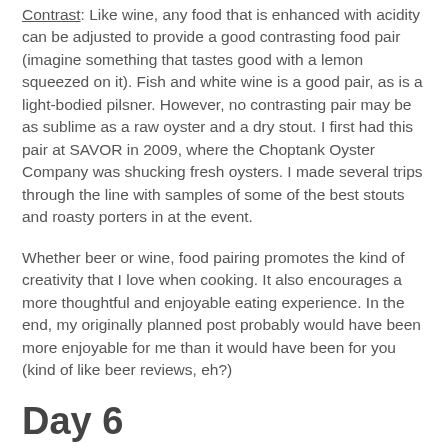Contrast: Like wine, any food that is enhanced with acidity can be adjusted to provide a good contrasting food pair (imagine something that tastes good with a lemon squeezed on it). Fish and white wine is a good pair, as is a light-bodied pilsner. However, no contrasting pair may be as sublime as a raw oyster and a dry stout. I first had this pair at SAVOR in 2009, where the Choptank Oyster Company was shucking fresh oysters. I made several trips through the line with samples of some of the best stouts and roasty porters in at the event.
Whether beer or wine, food pairing promotes the kind of creativity that I love when cooking. It also encourages a more thoughtful and enjoyable eating experience. In the end, my originally planned post probably would have been more enjoyable for me than it would have been for you (kind of like beer reviews, eh?)
Day 6
May 21, 2011
Dogfish Head Craft Brewery Namaste